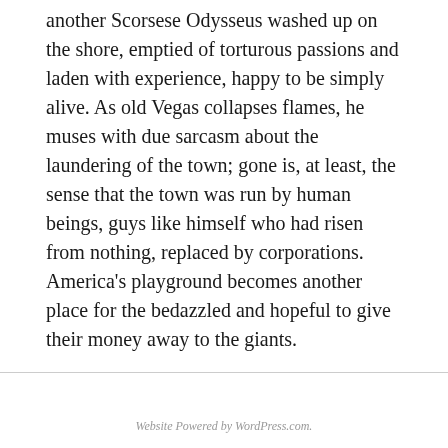another Scorsese Odysseus washed up on the shore, emptied of torturous passions and laden with experience, happy to be simply alive. As old Vegas collapses flames, he muses with due sarcasm about the laundering of the town; gone is, at least, the sense that the town was run by human beings, guys like himself who had risen from nothing, replaced by corporations. America's playground becomes another place for the bedazzled and hopeful to give their money away to the giants.
Website Powered by WordPress.com.